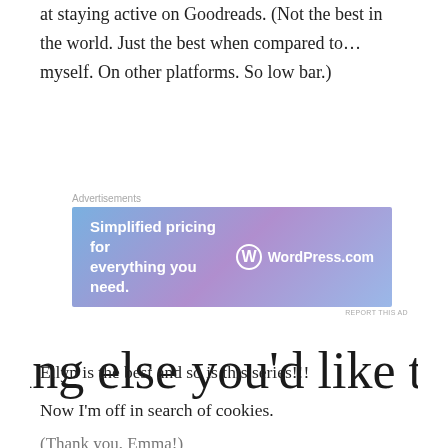at staying active on Goodreads. (Not the best in the world. Just the best when compared to…myself. On other platforms. So low bar.)
[Figure (other): WordPress.com advertisement banner with gradient blue-purple background, text 'Simplified pricing for everything you need.' and WordPress.com logo]
[Figure (other): Decorative cursive handwriting text reading 'Anything else you'd like to add?']
Ellyn is the best and so is this series!!!
Now I'm off in search of cookies.
(Thank you, Emma!)